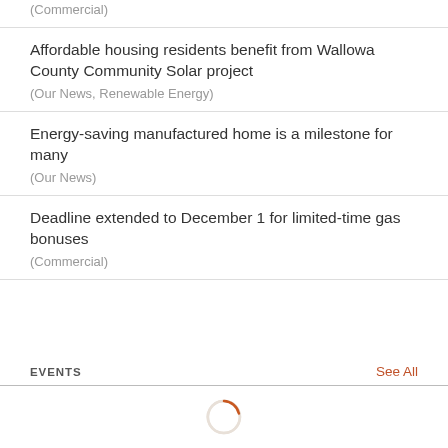(Commercial)
Affordable housing residents benefit from Wallowa County Community Solar project
(Our News, Renewable Energy)
Energy-saving manufactured home is a milestone for many
(Our News)
Deadline extended to December 1 for limited-time gas bonuses
(Commercial)
EVENTS
See All
[Figure (other): Loading spinner — circular arc in orange/salmon color indicating content is loading]